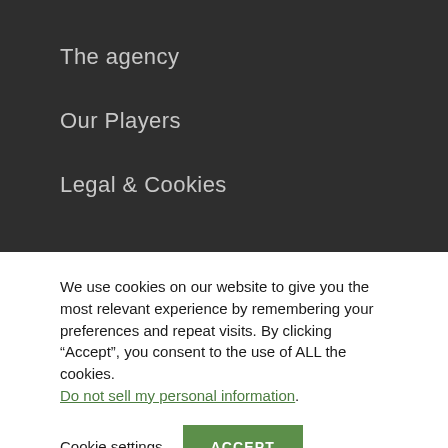The agency
Our Players
Legal & Cookies
We use cookies on our website to give you the most relevant experience by remembering your preferences and repeat visits. By clicking “Accept”, you consent to the use of ALL the cookies. Do not sell my personal information.
Cookie settings
ACCEPT